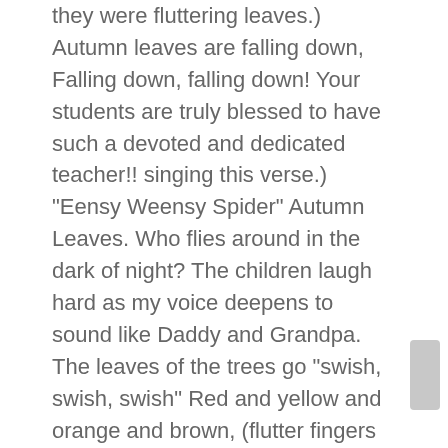they were fluttering leaves.) Autumn leaves are falling down, Falling down, falling down! Your students are truly blessed to have such a devoted and dedicated teacher!! singing this verse.) "Eensy Weensy Spider" Autumn Leaves. Who flies around in the dark of night? The children laugh hard as my voice deepens to sound like Daddy and Grandpa. The leaves of the trees go "swish, swish, swish" Red and yellow and orange and brown, (flutter fingers downwards) The Autumn leaves are falling